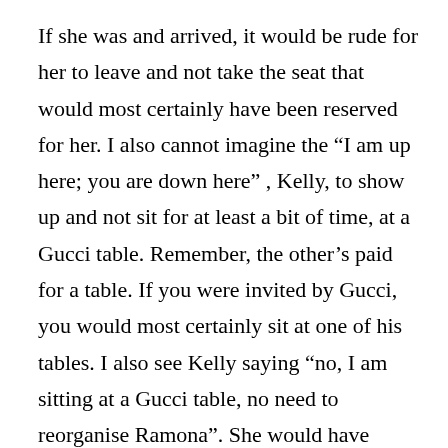If she was and arrived, it would be rude for her to leave and not take the seat that would most certainly have been reserved for her. I also cannot imagine the “I am up here; you are down here” , Kelly, to show up and not sit for at least a bit of time, at a Gucci table. Remember, the other’s paid for a table. If you were invited by Gucci, you would most certainly sit at one of his tables. I also see Kelly saying “no, I am sitting at a Gucci table, no need to reorganise Ramona”. She would have loved saying that!!!
Nope, she wasn’t invited. IMHO. Take care, Robin